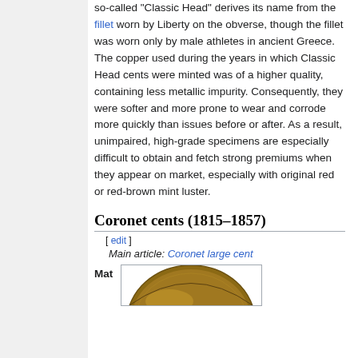so-called "Classic Head" derives its name from the fillet worn by Liberty on the obverse, though the fillet was worn only by male athletes in ancient Greece. The copper used during the years in which Classic Head cents were minted was of a higher quality, containing less metallic impurity. Consequently, they were softer and more prone to wear and corrode more quickly than issues before or after. As a result, unimpaired, high-grade specimens are especially difficult to obtain and fetch strong premiums when they appear on market, especially with original red or red-brown mint luster.
Coronet cents (1815–1857)
[ edit ]
Main article: Coronet large cent
Mat
[Figure (photo): Partial image of a Coronet cent coin showing the top of the coin with mint luster]